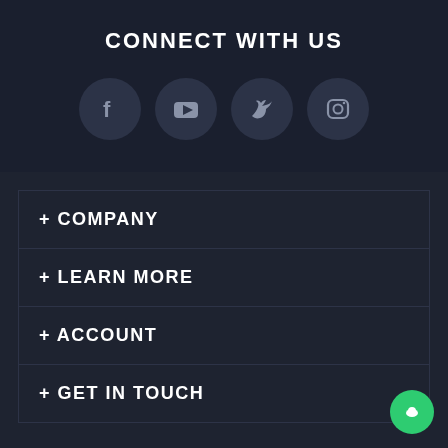CONNECT WITH US
[Figure (infographic): Four social media icon circles: Facebook, YouTube, Twitter, Instagram]
+ COMPANY
+ LEARN MORE
+ ACCOUNT
+ GET IN TOUCH